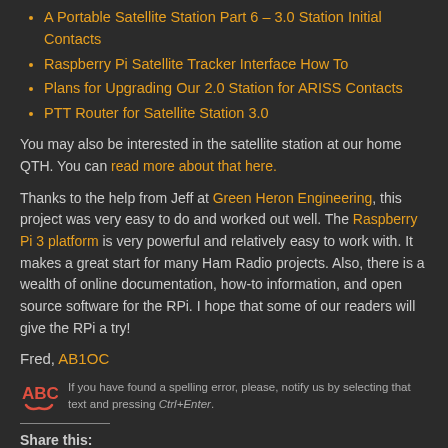A Portable Satellite Station Part 6 – 3.0 Station Initial Contacts
Raspberry Pi Satellite Tracker Interface How To
Plans for Upgrading Our 2.0 Station for ARISS Contacts
PTT Router for Satellite Station 3.0
You may also be interested in the satellite station at our home QTH. You can read more about that here.
Thanks to the help from Jeff at Green Heron Engineering, this project was very easy to do and worked out well. The Raspberry Pi 3 platform is very powerful and relatively easy to work with. It makes a great start for many Ham Radio projects. Also, there is a wealth of online documentation, how-to information, and open source software for the RPi. I hope that some of our readers will give the RPi a try!
Fred, AB1OC
If you have found a spelling error, please, notify us by selecting that text and pressing Ctrl+Enter.
Share this: